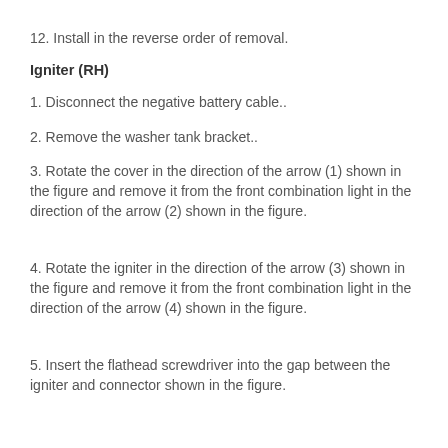12. Install in the reverse order of removal.
Igniter (RH)
1. Disconnect the negative battery cable..
2. Remove the washer tank bracket..
3. Rotate the cover in the direction of the arrow (1) shown in the figure and remove it from the front combination light in the direction of the arrow (2) shown in the figure.
4. Rotate the igniter in the direction of the arrow (3) shown in the figure and remove it from the front combination light in the direction of the arrow (4) shown in the figure.
5. Insert the flathead screwdriver into the gap between the igniter and connector shown in the figure.